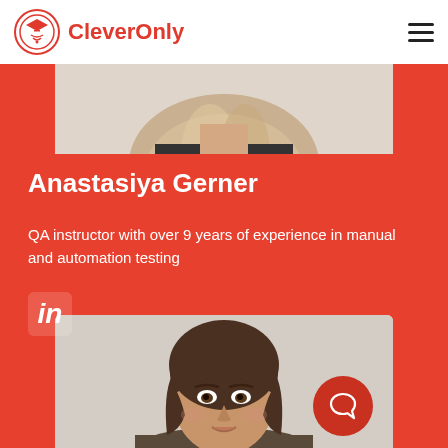CleverOnly
[Figure (photo): Top portion of a person's head with blonde hair, cropped at top of page]
Anastasiya Gerner
QA instructor with over 9 years of experience in manual and automation testing
[Figure (logo): LinkedIn 'in' icon in white on red background]
[Figure (photo): Portrait photo of woman with brown hair against light beige/gray background, face visible from shoulders up]